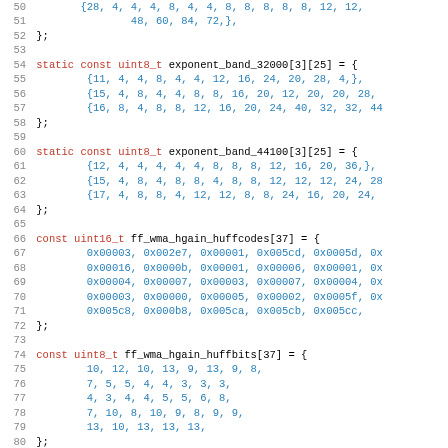Source code listing showing C array declarations for exponent_band_32000, exponent_band_44100, ff_wma_hgain_huffcodes, ff_wma_hgain_huffbits, and #define NB_LSP_COEFS
Line 50: {28, 4, 4, 4, 8, 4, 4, 8, 8, 8, 8, 8, 12, 12,
Line 51:         48, 60, 84, 72,},
Line 52: };
Line 53: (blank)
Line 54: static const uint8_t exponent_band_32000[3][25] = {
Line 55:         {11, 4, 4, 8, 4, 4, 12, 16, 24, 20, 28, 4,},
Line 56:         {15, 4, 8, 4, 4, 8, 8, 16, 20, 12, 20, 20, 28,
Line 57:         {16, 8, 4, 8, 8, 12, 16, 20, 24, 40, 32, 32, 44
Line 58: };
Line 59: (blank)
Line 60: static const uint8_t exponent_band_44100[3][25] = {
Line 61:         {12, 4, 4, 4, 4, 4, 8, 8, 8, 12, 16, 20, 36,},
Line 62:         {15, 4, 8, 4, 8, 8, 4, 8, 8, 12, 12, 12, 24, 28
Line 63:         {17, 4, 8, 8, 4, 12, 12, 8, 8, 24, 16, 20, 24,
Line 64: };
Line 65: (blank)
Line 66: const uint16_t ff_wma_hgain_huffcodes[37] = {
Line 67:         0x00003, 0x002e7, 0x00001, 0x005cd, 0x0005d, 0x
Line 68:         0x00016, 0x0000b, 0x00001, 0x00006, 0x00001, 0x
Line 69:         0x00004, 0x00007, 0x00003, 0x00007, 0x00004, 0x
Line 70:         0x00003, 0x00000, 0x00005, 0x00002, 0x0005f, 0x
Line 71:         0x005c8, 0x000b8, 0x005ca, 0x005cb, 0x005cc,
Line 72: };
Line 73: (blank)
Line 74: const uint8_t ff_wma_hgain_huffbits[37] = {
Line 75:         10, 12, 10, 13, 9, 13, 9, 8,
Line 76:         7, 5, 5, 4, 4, 3, 3, 3,
Line 77:         4, 3, 4, 4, 5, 5, 6, 8,
Line 78:         7, 10, 8, 10, 9, 8, 9, 9,
Line 79:         13, 10, 13, 13, 13,
Line 80: };
Line 81: (blank)
Line 82: #define NB_LSP_COEFS 10